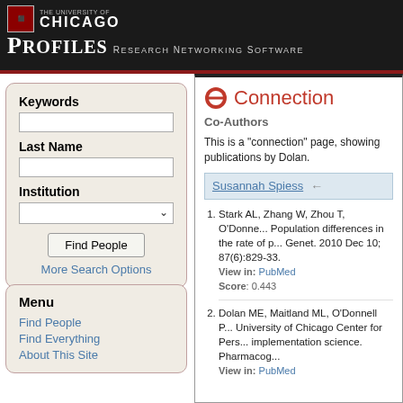THE UNIVERSITY OF CHICAGO | PROFILES Research Networking Software
Connection
Co-Authors
This is a "connection" page, showing publi... Dolan.
Susannah Spiess
1. Stark AL, Zhang W, Zhou T, O'Donne... Population differences in the rate of p... Genet. 2010 Dec 10; 87(6):829-33. View in: PubMed Score: 0.443
2. Dolan ME, Maitland ML, O'Donnell P... University of Chicago Center for Pers... implementation science. Pharmacog... View in: PubMed
Keywords
Last Name
Institution
Find People
More Search Options
Menu
Find People
Find Everything
About This Site